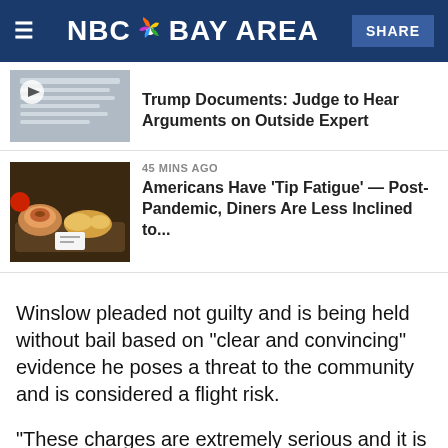NBC Bay Area
Trump Documents: Judge to Hear Arguments on Outside Expert
45 MINS AGO
Americans Have 'Tip Fatigue' — Post-Pandemic, Diners Are Less Inclined to...
Winslow pleaded not guilty and is being held without bail based on "clear and convincing" evidence he poses a threat to the community and is considered a flight risk.
"These charges are extremely serious and it is clear to the people that these were committed against the most vulnerable victims in society," prosecutor Dan Owens said. "The fact that they had the courage to come forward and report these criminal offenses -- we take them very seriously and the moment that we were able to proceed with the filing